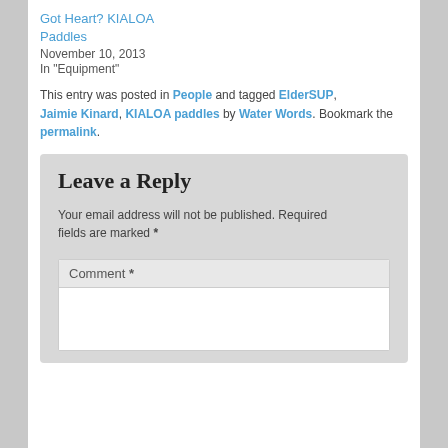Got Heart? KIALOA Paddles
November 10, 2013
In "Equipment"
This entry was posted in People and tagged ElderSUP, Jaimie Kinard, KIALOA paddles by Water Words. Bookmark the permalink.
Leave a Reply
Your email address will not be published. Required fields are marked *
Comment *